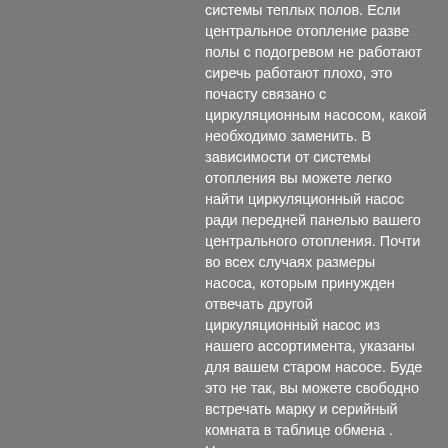системы теплых полов. Если центральное отопление разве полы с подогревом не работают сиречь работают плохо, это почасту связано с циркуляционным насосом, какой необходимо заменить. В зависимости от системы отопления вы можете легко найти циркуляционный насос ради передней панелью вашего центрального отопления. Почти во всех случаях размеры насоса, которым принужден отвечать другой циркуляционный насос из нашего ассортимента, указаны для вашем старом насосе. Буде это не так, вы можете свободно встречать марку и серийный комната в таблице обмена . Наши инструкции, приведенные ниже, помогут вам заменить насос отопления. Мы выбрали три насоса (центрального) отопления иначе циркуляционные насосы ради нашего ассортимента. Обладая этими тремя размерами, мы можем